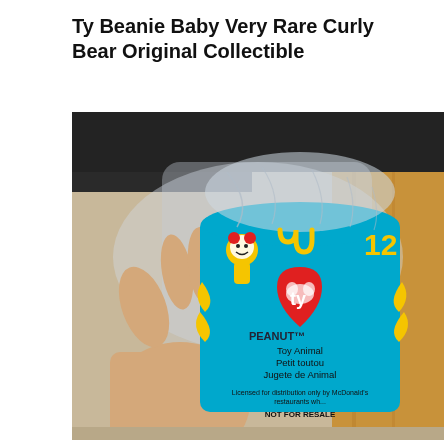Ty Beanie Baby Very Rare Curly Bear Original Collectible
[Figure (photo): Photo of a hand holding a McDonald's Happy Meal toy in original sealed plastic bag. The toy is a Ty Beanie Baby Peanut the elephant, numbered 12, in a blue package with the McDonald's golden arches logo and Ronald McDonald graphics. The package reads 'PEANUT', 'Toy Animal', 'Petit toutou', 'Jugete de Animal', 'Licensed for distribution only by McDonald's restaurants wh...', 'NOT FOR RESALE'. Background shows a dark countertop and wooden surface.]